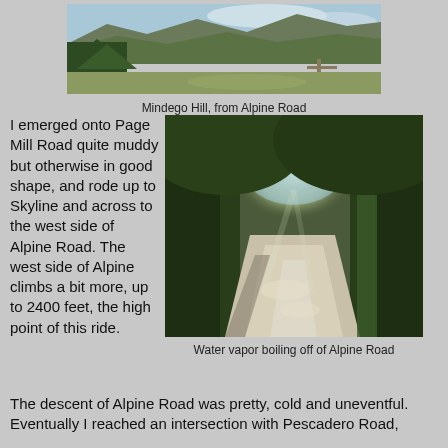[Figure (photo): Panoramic photo of Mindego Hill seen from Alpine Road, showing green rolling hills, forest, and a partial cloudy sky]
Mindego Hill, from Alpine Road
I emerged onto Page Mill Road quite muddy but otherwise in good shape, and rode up to Skyline and across to the west side of Alpine Road. The west side of Alpine climbs a bit more, up to 2400 feet, the high point of this ride.
[Figure (photo): Photo of a narrow road tunnel through dense green trees with light filtering through, water vapor visible on Alpine Road]
Water vapor boiling off of Alpine Road
The descent of Alpine Road was pretty, cold and uneventful. Eventually I reached an intersection with Pescadero Road,